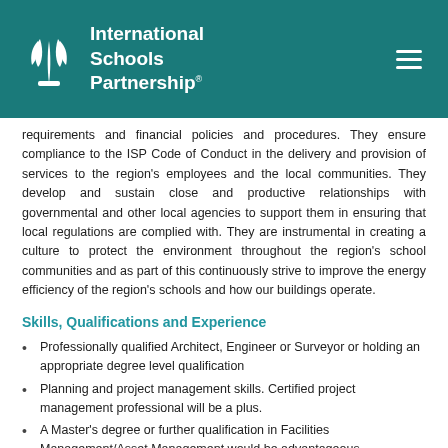International Schools Partnership
requirements and financial policies and procedures. They ensure compliance to the ISP Code of Conduct in the delivery and provision of services to the region's employees and the local communities. They develop and sustain close and productive relationships with governmental and other local agencies to support them in ensuring that local regulations are complied with. They are instrumental in creating a culture to protect the environment throughout the region's school communities and as part of this continuously strive to improve the energy efficiency of the region's schools and how our buildings operate.
Skills, Qualifications and Experience
Professionally qualified Architect, Engineer or Surveyor or holding an appropriate degree level qualification
Planning and project management skills. Certified project management professional will be a plus.
A Master's degree or further qualification in Facilities Management/Asset Management would be advantageous
Extensive Facilities Management experience, including